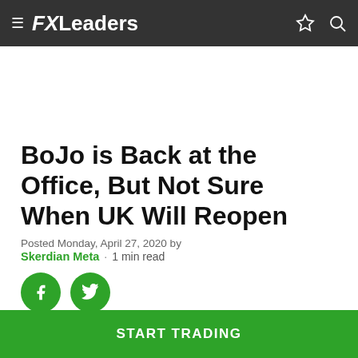FXLeaders
BoJo is Back at the Office, But Not Sure When UK Will Reopen
Posted Monday, April 27, 2020 by Skerdian Meta · 1 min read
[Figure (other): Social share buttons: Facebook and Twitter circular green icons]
Boris Johnson
Coronavirus Epidemic
START TRADING